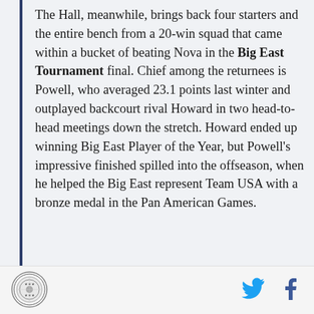The Hall, meanwhile, brings back four starters and the entire bench from a 20-win squad that came within a bucket of beating Nova in the Big East Tournament final. Chief among the returnees is Powell, who averaged 23.1 points last winter and outplayed backcourt rival Howard in two head-to-head meetings down the stretch. Howard ended up winning Big East Player of the Year, but Powell's impressive finished spilled into the offseason, when he helped the Big East represent Team USA with a bronze medal in the Pan American Games.
Big East Media Day 2019: Preseason polls and awards announced | Rumble In The Garden
[Figure (logo): Circular emblem/seal logo in grayscale]